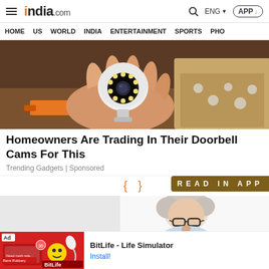india.com — ENG — APP
HOME  US  WORLD  INDIA  ENTERTAINMENT  SPORTS  PHO
[Figure (photo): A hand holding a small white security camera with LED ring, photographed against a cardboard box background]
Homeowners Are Trading In Their Doorbell Cams For This
Trending Gadgets | Sponsored
[Figure (photo): Partially visible photo of an elderly man with glasses, light background]
[Figure (photo): Ad banner for BitLife - Life Simulator app with red background and game logo]
BitLife - Life Simulator
Install!